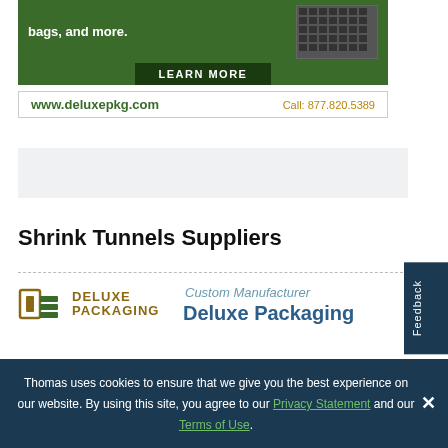[Figure (illustration): Deluxe Packaging advertisement banner with green background showing 'bags, and more.' text, a LEARN MORE button, an image of packaging trays, website www.deluxepkg.com and phone Call: 877.820.5389]
bags, and more.
LEARN MORE
www.deluxepkg.com
Call: 877.820.5389
[Figure (other): Gray placeholder/advertisement bar]
Shrink Tunnels Suppliers
[Figure (logo): Deluxe Packaging logo with brown/gold icon and text]
Custom Manufacturer
Deluxe Packaging
Feedback
Thomas uses cookies to ensure that we give you the best experience on our website. By using this site, you agree to our Privacy Statement and our Terms of Use.